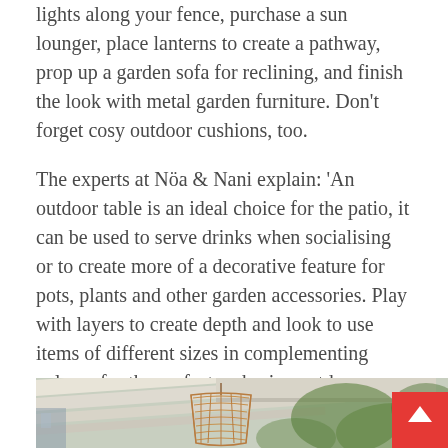lights along your fence, purchase a sun lounger, place lanterns to create a pathway, prop up a garden sofa for reclining, and finish the look with metal garden furniture. Don't forget cosy outdoor cushions, too.
The experts at Nöa & Nani explain: 'An outdoor table is an ideal choice for the patio, it can be used to serve drinks when socialising or to create more of a decorative feature for pots, plants and other garden accessories. Play with layers to create depth and look to use items of different sizes in complementing colours for the perfect, cohesive outdoor scheme.'
[Figure (photo): A pergola or covered outdoor patio area photographed from below, showing white wooden beams overhead and a rattan/wooden pendant lamp hanging down; blurred green foliage and outdoor furniture visible in background.]